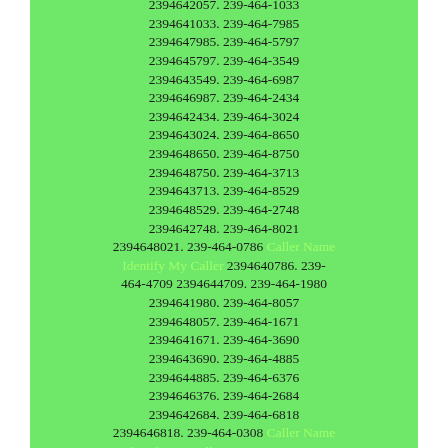2394642057. 239-464-1033 2394641033. 239-464-7985 2394647985. 239-464-5797 2394645797. 239-464-3549 2394643549. 239-464-6987 2394646987. 239-464-2434 2394642434. 239-464-3024 2394643024. 239-464-8650 2394648650. 239-464-8750 2394648750. 239-464-3713 2394643713. 239-464-8529 2394648529. 239-464-2748 2394642748. 239-464-8021 2394648021. 239-464-0786 Caller Name Identify My Caller 2394640786. 239-464-4709 2394644709. 239-464-1980 2394641980. 239-464-8057 2394648057. 239-464-1671 2394641671. 239-464-3690 2394643690. 239-464-4885 2394644885. 239-464-6376 2394646376. 239-464-2684 2394642684. 239-464-6818 2394646818. 239-464-0308 Caller Name Identify My Caller 2394640308. 239-464-2115 2394642115. 239-464-5611